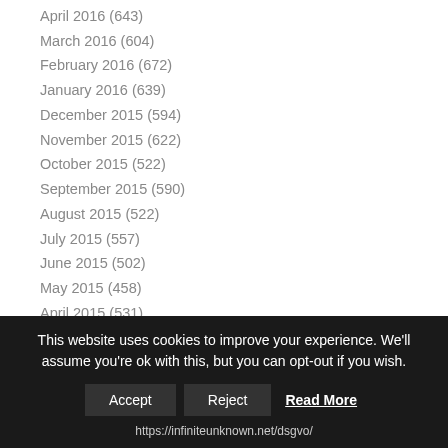April 2016 (643)
March 2016 (604)
February 2016 (672)
January 2016 (639)
December 2015 (594)
November 2015 (622)
October 2015 (522)
September 2015 (590)
August 2015 (522)
July 2015 (557)
June 2015 (502)
May 2015 (458)
April 2015 (531)
March 2015 (554)
February 2015 (534)
This website uses cookies to improve your experience. We'll assume you're ok with this, but you can opt-out if you wish.
https://infiniteunknown.net/dsgvo/